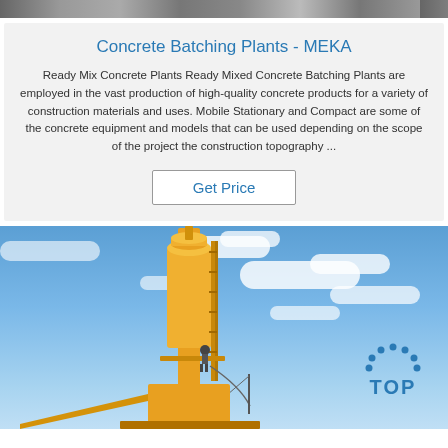[Figure (photo): Top banner image showing concrete batching plant machinery, grayscale/dark strip at the very top of the page]
Concrete Batching Plants - MEKA
Ready Mix Concrete Plants Ready Mixed Concrete Batching Plants are employed in the vast production of high-quality concrete products for a variety of construction materials and uses. Mobile Stationary and Compact are some of the concrete equipment and models that can be used depending on the scope of the project the construction topography ...
[Figure (other): Get Price button with border]
[Figure (photo): Photo of a yellow concrete batching plant tower with a worker on it, blue sky with white clouds in background, TOP logo watermark in lower right]